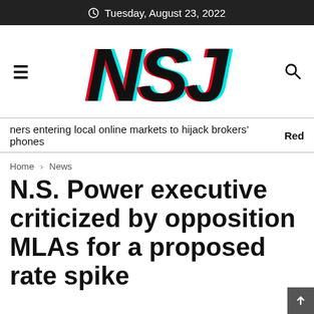Tuesday, August 23, 2022
[Figure (logo): NSJ news logo with cyan and red glitch shadow effect, large bold italic letters NSJ]
ners entering local online markets to hijack brokers' phones   Red
Home > News
N.S. Power executive criticized by opposition MLAs for a proposed rate spike